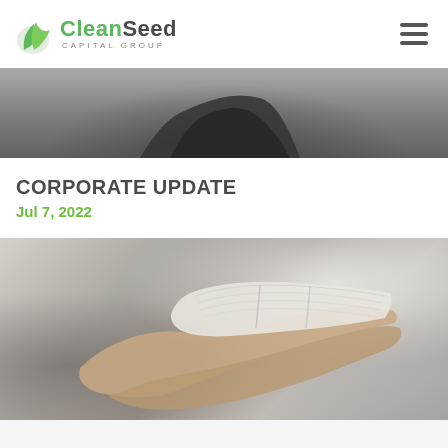CleanSeed CAPITAL GROUP
[Figure (photo): Dark silhouetted background photo, partial view of a person from behind]
CORPORATE UPDATE
Jul 7, 2022
[Figure (photo): Hands holding and reading a newspaper, blurred background with warm muted tones]